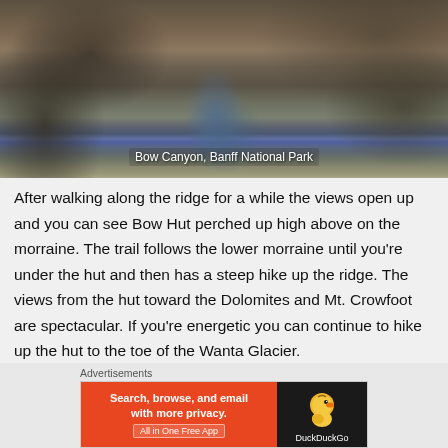[Figure (photo): Rocky canyon with turquoise river running through it — Bow Canyon, Banff National Park]
Bow Canyon, Banff National Park
After walking along the ridge for a while the views open up and you can see Bow Hut perched up high above on the morraine. The trail follows the lower morraine until you’re under the hut and then has a steep hike up the ridge. The views from the hut toward the Dolomites and Mt. Crowfoot are spectacular. If you’re energetic you can continue to hike up the hut to the toe of the Wanta Glacier.
[Figure (other): DuckDuckGo advertisement banner — Search, browse, and email with more privacy. All in One Free App.]